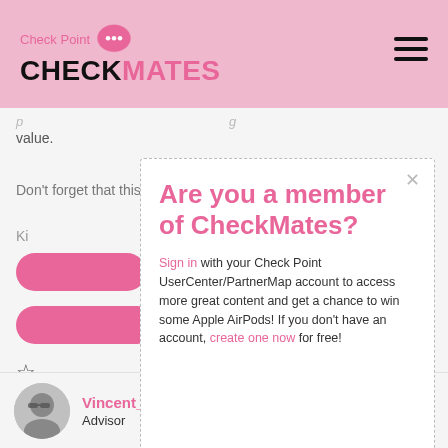Check Point CHECKMATES
value.
Don't forget that this is only possible with TCP 😊
Kin
[Figure (screenshot): Modal popup dialog with title 'Are you a member of CheckMates?' and sign-in prompt]
Vincent_Bacher
Advisor